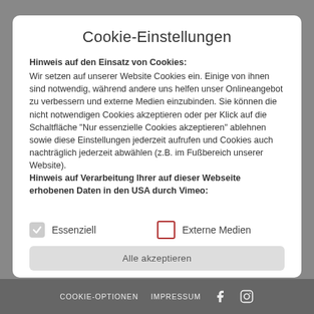Cookie-Einstellungen
Hinweis auf den Einsatz von Cookies:
Wir setzen auf unserer Website Cookies ein. Einige von ihnen sind notwendig, während andere uns helfen unser Onlineangebot zu verbessern und externe Medien einzubinden. Sie können die nicht notwendigen Cookies akzeptieren oder per Klick auf die Schaltfläche "Nur essenzielle Cookies akzeptieren" ablehnen sowie diese Einstellungen jederzeit aufrufen und Cookies auch nachträglich jederzeit abwählen (z.B. im Fußbereich unserer Website).
Hinweis auf Verarbeitung Ihrer auf dieser Webseite erhobenen Daten in den USA durch Vimeo:
Essenziell
Externe Medien
Alle akzeptieren
COOKIE-OPTIONEN   IMPRESSUM